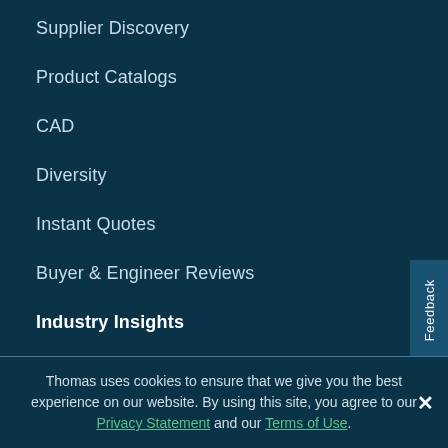Supplier Discovery
Product Catalogs
CAD
Diversity
Instant Quotes
Buyer & Engineer Reviews
Industry Insights
Topics
Thomas Index (TMX)
Daily Bite
Guides
White Papers
Thomas uses cookies to ensure that we give you the best experience on our website. By using this site, you agree to our Privacy Statement and our Terms of Use.